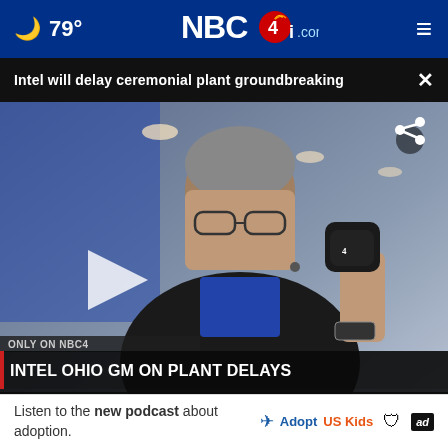79° NBC4i.com
Intel will delay ceremonial plant groundbreaking ×
[Figure (screenshot): NBC4 news video still showing a man being interviewed with a microphone, lower-third chyron reads: ONLY ON NBC4 / INTEL OHIO GM ON PLANT DELAYS / INTEL POSTPONES CEREMONIAL GROUNDBREAKING IN OHIO]
Mansfield Lahm Airport
Listen to the new podcast about adoption. Adopt US Kids [ad]